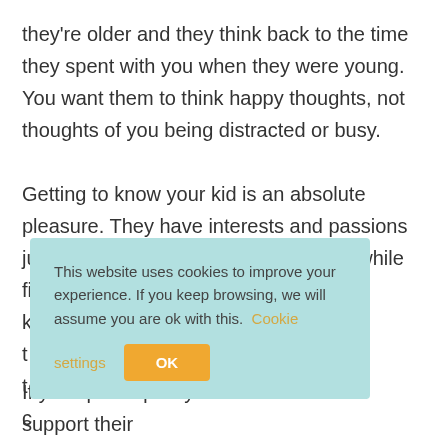they're older and they think back to the time they spent with you when they were young. You want them to think happy thoughts, not thoughts of you being distracted or busy.
Getting to know your kid is an absolute pleasure. They have interests and passions just like adults do, so it's always worthwhile finding out what they are. If you k[...] vers with t[...] nauts with t[...] ing then paint c[...]
[Figure (other): Cookie consent overlay banner with light teal background. Text reads: 'This website uses cookies to improve your experience. If you keep browsing, we will assume you are ok with this. Cookie settings [button] OK [button]']
If you spend quality time with them and support their